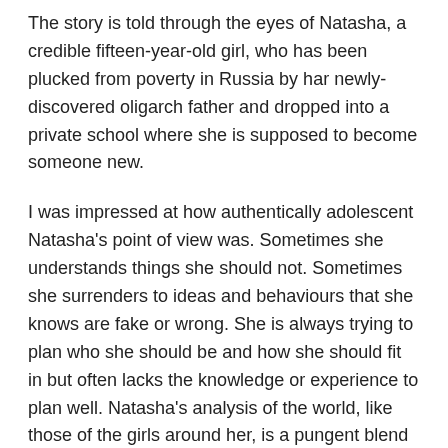The story is told through the eyes of Natasha, a credible fifteen-year-old girl, who has been plucked from poverty in Russia by har newly-discovered oligarch father and dropped into a private school where she is supposed to become someone new.
I was impressed at how authentically adolescent Natasha's point of view was. Sometimes she understands things she should not. Sometimes she surrenders to ideas and behaviours that she knows are fake or wrong. She is always trying to plan who she should be and how she should fit in but often lacks the knowledge or experience to plan well. Natasha's analysis of the world, like those of the girls around her, is a pungent blend of fact, fantasy and magical thinking that heightens their awareness while keeping them vulnerable.